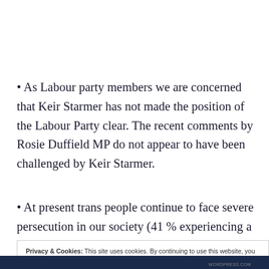• As Labour party members we are concerned that Keir Starmer has not made the position of the Labour Party clear. The recent comments by Rosie Duffield MP do not appear to have been challenged by Keir Starmer.
• At present trans people continue to face severe persecution in our society (41 % experiencing a hate crime in the last twelve months). Even within the labour
Privacy & Cookies: This site uses cookies. By continuing to use this website, you agree to their use.
To find out more, including how to control cookies, see here: Cookie Policy
Close and accept
WORDPRESS.COM